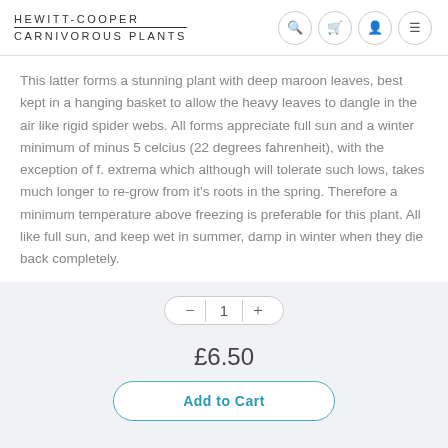HEWITT-COOPER CARNIVOROUS PLANTS
This latter forms a stunning plant with deep maroon leaves, best kept in a hanging basket to allow the heavy leaves to dangle in the air like rigid spider webs. All forms appreciate full sun and a winter minimum of minus 5 celcius (22 degrees fahrenheit), with the exception of f. extrema which although will tolerate such lows, takes much longer to re-grow from it's roots in the spring. Therefore a minimum temperature above freezing is preferable for this plant. All like full sun, and keep wet in summer, damp in winter when they die back completely.
1
£6.50
Add to Cart